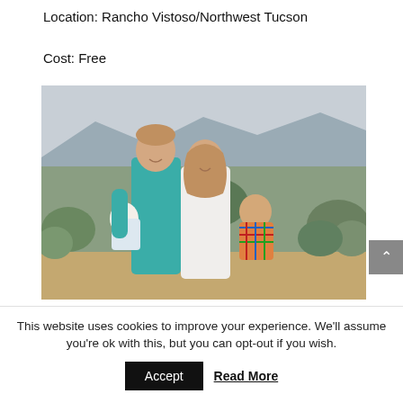Location: Rancho Vistoso/Northwest Tucson
Cost: Free
[Figure (photo): Family photo of a man in a teal shirt holding a baby, and a woman in a white top holding a toddler in a colorful plaid shirt, smiling outdoors in a desert landscape with shrubs and mountains in the background.]
This website uses cookies to improve your experience. We'll assume you're ok with this, but you can opt-out if you wish.
Accept
Read More